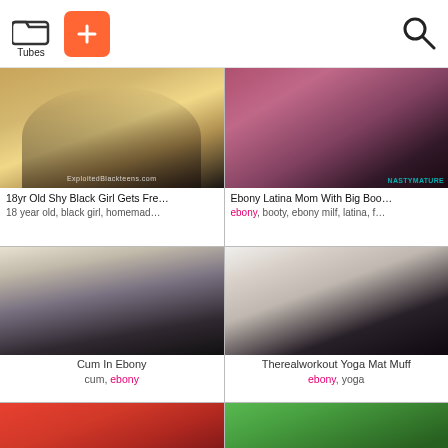Tubes | + | Search
[Figure (photo): Thumbnail of young Black woman lying on bed in dark outfit]
18yr Old Shy Black Girl Gets Fre…
18 year old, black girl, homemad…
[Figure (photo): Thumbnail showing close-up of woman in fishnet stockings from behind]
Ebony Latina Mom With Big Boo…
ebony, booty, ebony milf, latina, f…
[Figure (photo): Thumbnail of Black woman with white man in kitchen]
Cum In Ebony
cum, ebony
[Figure (photo): Thumbnail of woman in white jeans with tattooed person]
Therealworkout Yoga Mat Muff
ebony, yoga
[Figure (photo): Thumbnail with red/orange tones]
[Figure (photo): Thumbnail with outdoor green tones]